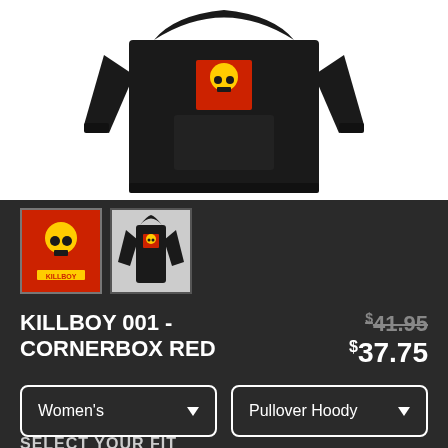[Figure (photo): Black pullover hoodie product photo on white background, showing front view with a red graphic patch on chest]
[Figure (photo): Thumbnail 1: Red poster art with skull graphic and KILLBOY text]
[Figure (photo): Thumbnail 2: Black hoodie with red graphic chest patch]
KILLBOY 001 - CORNERBOX RED
$41.95 $37.75
Women's
Pullover Hoody
SELECT YOUR FIT